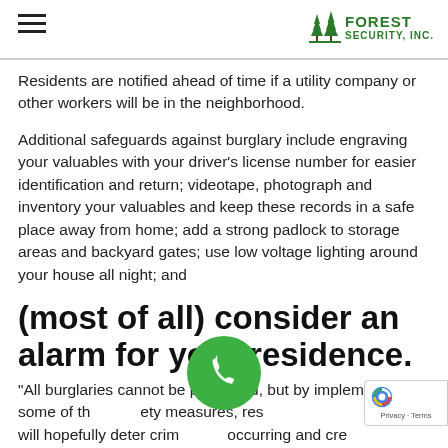Forest Security, Inc.
Residents are notified ahead of time if a utility company or other workers will be in the neighborhood.
Additional safeguards against burglary include engraving your valuables with your driver's license number for easier identification and return; videotape, photograph and inventory your valuables and keep these records in a safe place away from home; add a strong padlock to storage areas and backyard gates; use low voltage lighting around your house all night; and
(most of all) consider an alarm for your residence.
"All burglaries cannot be prevented, but by implementing some of these safety measures, residents will hopefully deter crime from occurring and create a safer environment for all." Balogh says